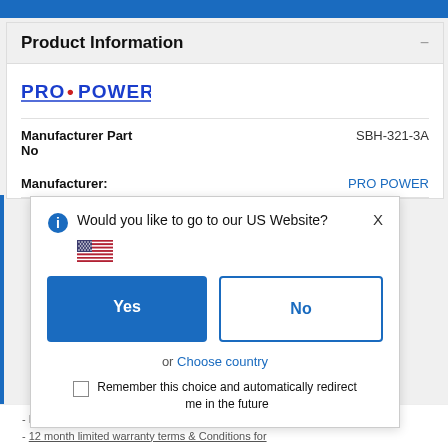Product Information
[Figure (logo): PRO POWER logo in blue text]
| Manufacturer Part No | SBH-321-3A |
| Manufacturer: | PRO POWER |
Would you like to go to our US Website?
Yes
No
or Choose country
Remember this choice and automatically redirect me in the future
Pro Power products are rated 4.5 out of 5 stars
12 month limited warranty terms & Conditions for